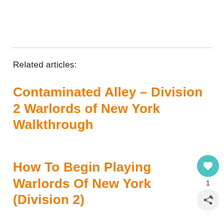Related articles:
Contaminated Alley – Division 2 Warlords of New York Walkthrough
How To Begin Playing Warlords Of New York (Division 2)